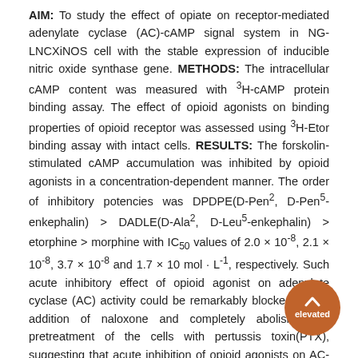AIM: To study the effect of opiate on receptor-mediated adenylate cyclase (AC)-cAMP signal system in NG-LNCXiNOS cell with the stable expression of inducible nitric oxide synthase gene. METHODS: The intracellular cAMP content was measured with 3H-cAMP protein binding assay. The effect of opioid agonists on binding properties of opioid receptor was assessed using 3H-Etor binding assay with intact cells. RESULTS: The forskolin-stimulated cAMP accumulation was inhibited by opioid agonists in a concentration-dependent manner. The order of inhibitory potencies was DPDPE(D-Pen2, D-Pen5-enkephalin) > DADLE(D-Ala2, D-Leu5-enkephalin) > etorphine > morphine with IC50 values of 2.0 × 10-8, 2.1 × 10-8, 3.7 × 10-8 and 1.7 × 10 mol · L-1, respectively. Such acute inhibitory effect of opioid agonist on adenylate cyclase (AC) activity could be remarkably blocked by the addition of naloxone and completely abolished by pretreatment of the cells with pertussis toxin(PTX), suggesting that acute inhibition of opioid agonists on AC-cAMP system may be regulated via a receptor-mediated and PTX-sensitive G protein pathway. After NG-LNCXiNOS cells were pretreated with DPDPE and DADLE for 48 hours, opioid agonists elevated intracellular cAMP concentration in the presence and absence of naloxone. Chronic exposure of the cells to DPDPE and DADLE resulted in reduction of Bmax and an increase of Kd and